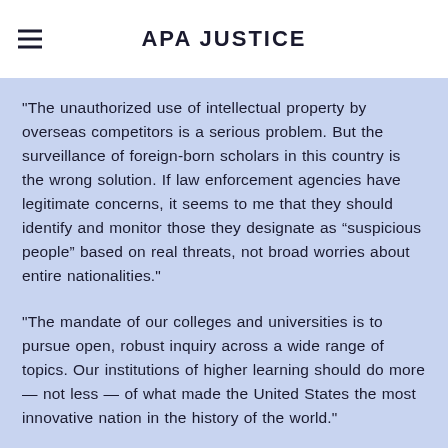APA JUSTICE
"The unauthorized use of intellectual property by overseas competitors is a serious problem. But the surveillance of foreign-born scholars in this country is the wrong solution. If law enforcement agencies have legitimate concerns, it seems to me that they should identify and monitor those they designate as “suspicious people” based on real threats, not broad worries about entire nationalities."
"The mandate of our colleges and universities is to pursue open, robust inquiry across a wide range of topics. Our institutions of higher learning should do more — not less — of what made the United States the most innovative nation in the history of the world."